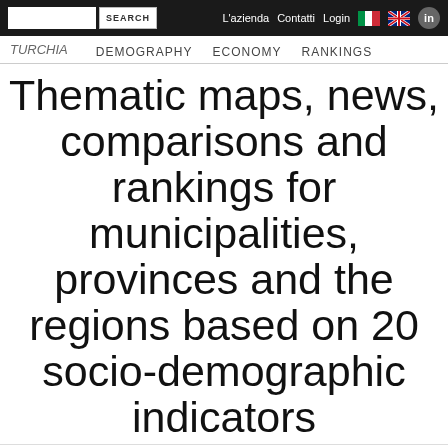L'azienda  Contatti  Login  [IT flag] [UK flag] [LinkedIn]
TURCHIA  DEMOGRAPHY  ECONOMY  RANKINGS
Thematic maps, news, comparisons and rankings for municipalities, provinces and the regions based on 20 socio-demographic indicators
TURCHIA / Southeast Anatolia / Province of Şanlıurfa